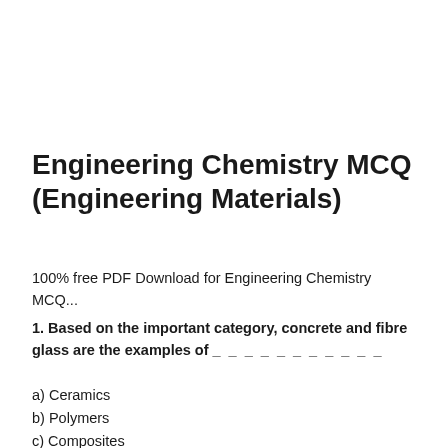Engineering Chemistry MCQ (Engineering Materials)
100% free PDF Download for Engineering Chemistry MCQ...
1. Based on the important category, concrete and fibre glass are the examples of ___________
a) Ceramics
b) Polymers
c) Composites